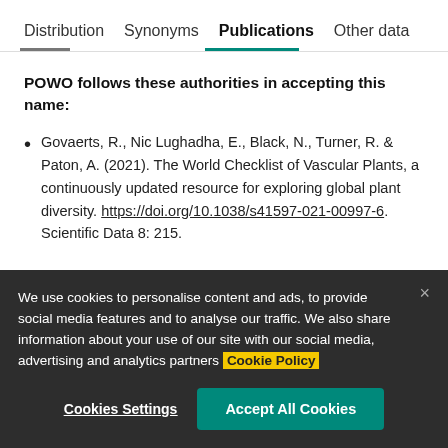Distribution   Synonyms   Publications   Other data
POWO follows these authorities in accepting this name:
Govaerts, R., Nic Lughadha, E., Black, N., Turner, R. & Paton, A. (2021). The World Checklist of Vascular Plants, a continuously updated resource for exploring global plant diversity. https://doi.org/10.1038/s41597-021-00997-6. Scientific Data 8: 215.
We use cookies to personalise content and ads, to provide social media features and to analyse our traffic. We also share information about your use of our site with our social media, advertising and analytics partners Cookie Policy
Cookies Settings   Accept All Cookies